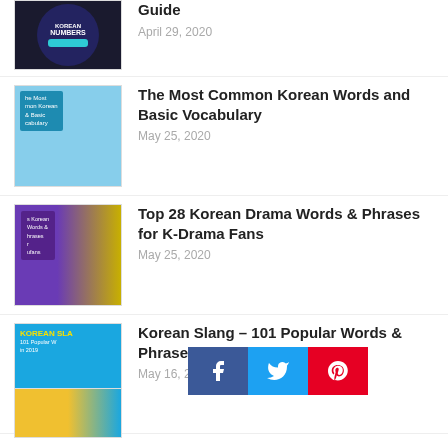[Figure (photo): Thumbnail for Korean Numbers article - dark circular badge on dark background]
Guide
April 29, 2020
[Figure (photo): Thumbnail for Most Common Korean Words article - city waterway scene with text overlay]
The Most Common Korean Words and Basic Vocabulary
May 25, 2020
[Figure (photo): Thumbnail for Korean Drama Words article - bronze statues with purple text overlay]
Top 28 Korean Drama Words & Phrases for K-Drama Fans
May 25, 2020
[Figure (photo): Thumbnail for Korean Slang article - blue background with yellow text and cartoon characters]
Korean Slang – 101 Popular Words & Phrases in 2020
May 16, 2020
[Figure (photo): Thumbnail for another article - yellow and blue gradient]